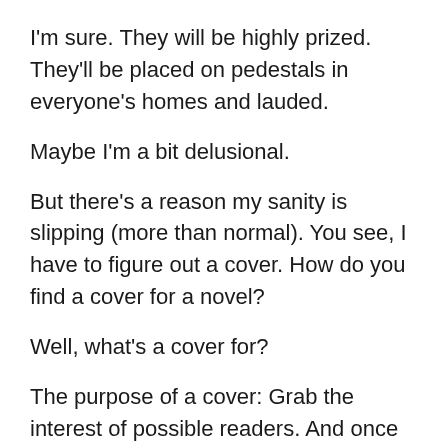I'm sure. They will be highly prized. They'll be placed on pedestals in everyone's homes and lauded.
Maybe I'm a bit delusional.
But there's a reason my sanity is slipping (more than normal). You see, I have to figure out a cover. How do you find a cover for a novel?
Well, what's a cover for?
The purpose of a cover: Grab the interest of possible readers. And once you have that interest, convey something true about what is under the cover. There's a reason that many times, books of the same genre will look similar. Those cover conventions tell readers what to expect.